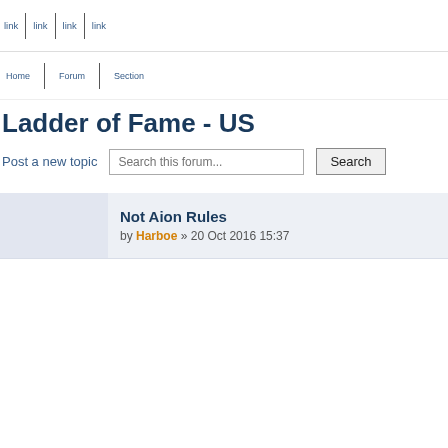nav links separated by vertical bars
Ladder of Fame - US
Post a new topic
Not Aion Rules by Harboe » 20 Oct 2016 15:37